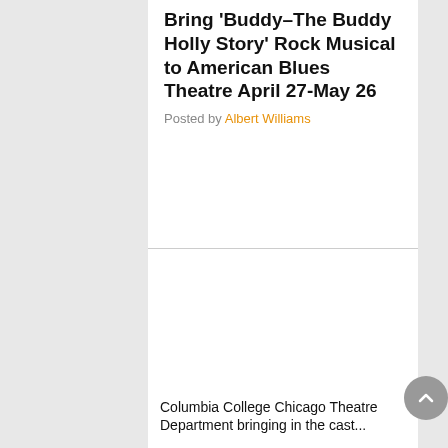Bring 'Buddy–The Buddy Holly Story' Rock Musical to American Blues Theatre April 27-May 26
Posted by Albert Williams
[Figure (photo): Large white/blank image placeholder area for a photo related to the Buddy Holly Story musical]
Columbia College Chicago Theatre Department bringing in the cast...